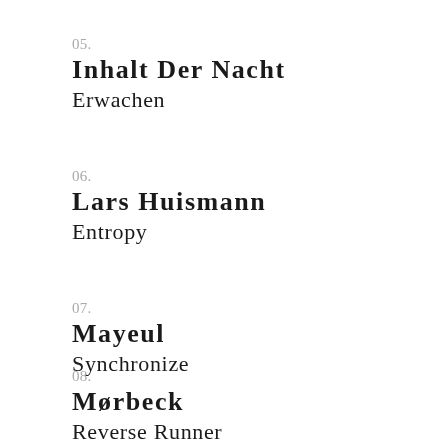05.
Inhalt Der Nacht
Erwachen
06.
Lars Huismann
Entropy
07.
Mayeul
Synchronize
08.
Mørbeck
Reverse Runner